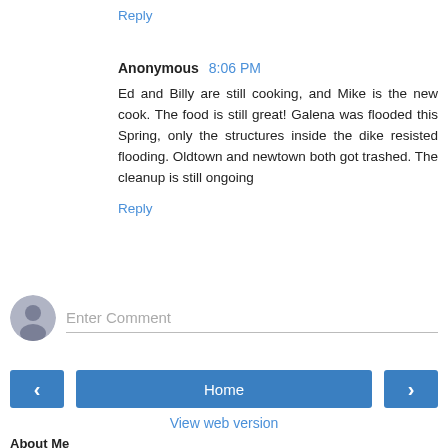Reply
Anonymous 8:06 PM
Ed and Billy are still cooking, and Mike is the new cook. The food is still great! Galena was flooded this Spring, only the structures inside the dike resisted flooding. Oldtown and newtown both got trashed. The cleanup is still ongoing
Reply
[Figure (other): Comment input area with avatar icon and Enter Comment placeholder text]
[Figure (infographic): Navigation bar with left arrow button, Home button, and right arrow button]
View web version
About Me
BostonPobble